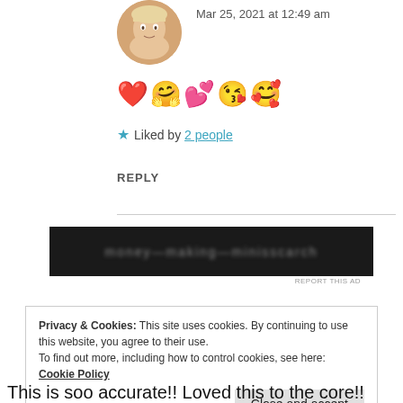Mar 25, 2021 at 12:49 am
[Figure (photo): Profile avatar photo of a blonde woman, cropped circular]
❤️🤗💕😘🥰
★ Liked by 2 people
REPLY
[Figure (other): Dark advertisement banner with blurred text]
REPORT THIS AD
Privacy & Cookies: This site uses cookies. By continuing to use this website, you agree to their use.
To find out more, including how to control cookies, see here: Cookie Policy
Close and accept
This is soo accurate!! Loved this to the core!!